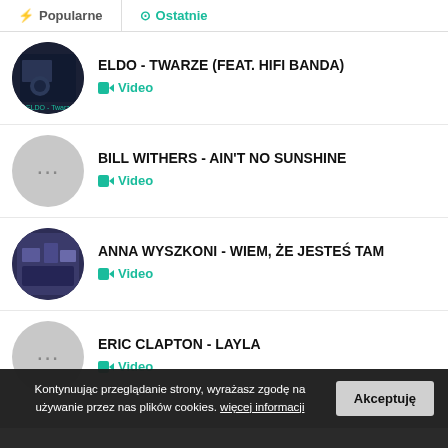Popularne | Ostatnie
ELDO - TWARZE (FEAT. HIFI BANDA) — Video
BILL WITHERS - AIN'T NO SUNSHINE — Video
ANNA WYSZKONI - WIEM, ŻE JESTEŚ TAM — Video
ERIC CLAPTON - LAYLA — Video
Kontynuując przeglądanie strony, wyrażasz zgodę na używanie przez nas plików cookies. więcej informacji